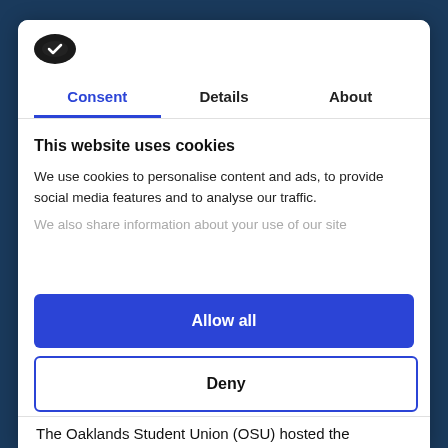[Figure (logo): Cookiebot logo — dark oval shape with a checkmark/cookie icon]
Consent	Details	About
This website uses cookies
We use cookies to personalise content and ads, to provide social media features and to analyse our traffic. We also share information about your use of our site
Allow all
Deny
Powered by Cookiebot by Usercentrics
The Oaklands Student Union (OSU) hosted the